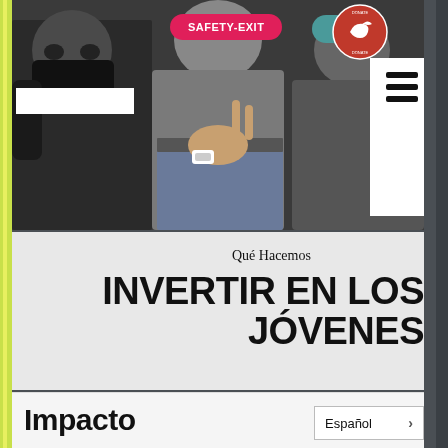[Figure (photo): Photo of young people/youth at an event, some wearing masks, taking a selfie or group photo. A red Safety-Exit button overlay appears at the top center, and a circular logo (donate) appears top right. White rectangular overlays appear on the left and right edges of the photo.]
SAFETY-EXIT
Qué Hacemos
INVERTIR EN LOS JÓVENES
Impacto
Español >